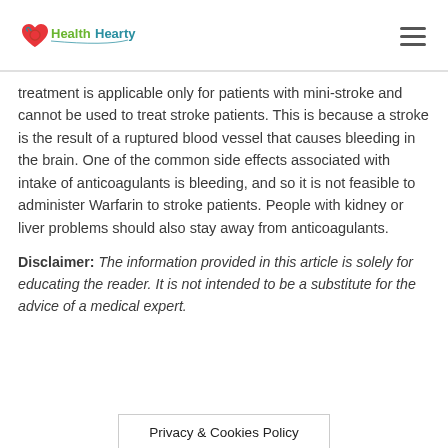HealthHearty
treatment is applicable only for patients with mini-stroke and cannot be used to treat stroke patients. This is because a stroke is the result of a ruptured blood vessel that causes bleeding in the brain. One of the common side effects associated with intake of anticoagulants is bleeding, and so it is not feasible to administer Warfarin to stroke patients. People with kidney or liver problems should also stay away from anticoagulants.
Disclaimer: The information provided in this article is solely for educating the reader. It is not intended to be a substitute for the advice of a medical expert.
Privacy & Cookies Policy